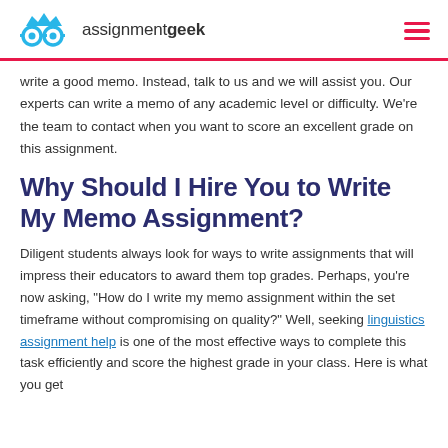assignmentgeek
write a good memo. Instead, talk to us and we will assist you. Our experts can write a memo of any academic level or difficulty. We're the team to contact when you want to score an excellent grade on this assignment.
Why Should I Hire You to Write My Memo Assignment?
Diligent students always look for ways to write assignments that will impress their educators to award them top grades. Perhaps, you're now asking, “How do I write my memo assignment within the set timeframe without compromising on quality?” Well, seeking linguistics assignment help is one of the most effective ways to complete this task efficiently and score the highest grade in your class. Here is what you get